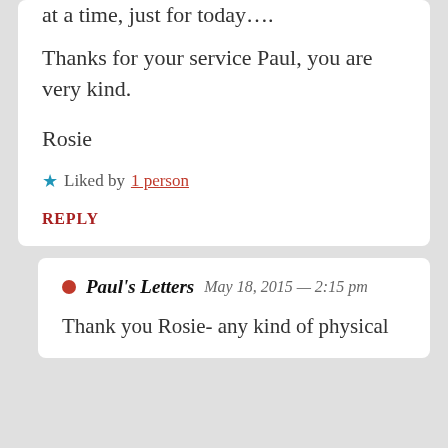at a time, just for today….
Thanks for your service Paul, you are very kind.
Rosie
★ Liked by 1 person
REPLY
Paul's Letters  May 18, 2015 — 2:15 pm
Thank you Rosie- any kind of physical